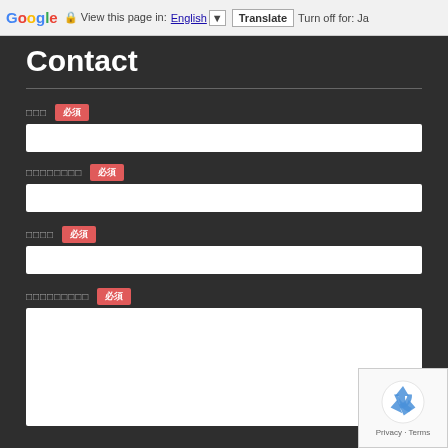Google  View this page in: English [▼]  Translate  Turn off for: Ja
Contact
□□□  必須
□□□□□□□□  必須
□□□□  必須
□□□□□□□□□  必須
[Figure (other): reCAPTCHA widget with recycling arrows logo and Privacy - Terms text]